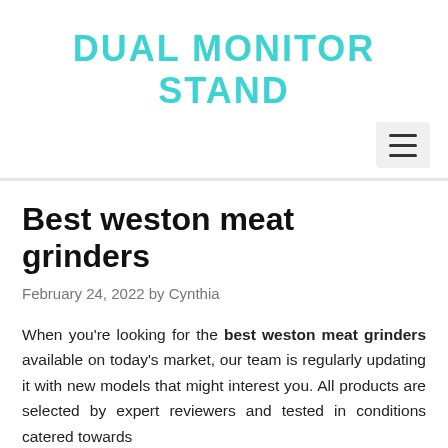DUAL MONITOR STAND
Best weston meat grinders
February 24, 2022 by Cynthia
When you're looking for the best weston meat grinders available on today's market, our team is regularly updating it with new models that might interest you. All products are selected by expert reviewers and tested in conditions catered towards